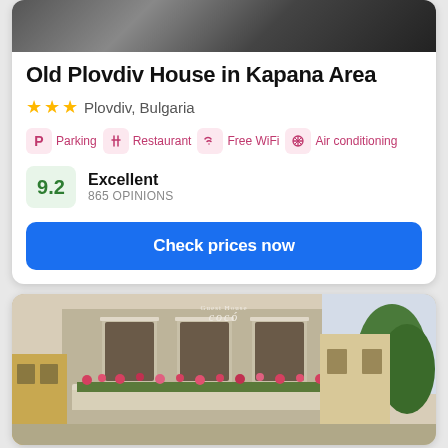[Figure (photo): Top portion of hotel building, dark facade visible at top of card]
Old Plovdiv House in Kapana Area
★★★  Plovdiv, Bulgaria
Parking  Restaurant  Free WiFi  Air conditioning
9.2  Excellent  865 OPINIONS
Check prices now
[Figure (photo): Guest House Coco building exterior with balcony flowers, beige facade, neighboring buildings and trees visible]